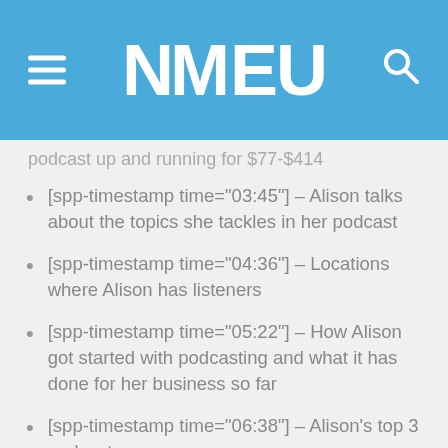NMEU
[spp-timestamp time="03:45"] – Alison talks about the topics she tackles in her podcast
[spp-timestamp time="04:36"] – Locations where Alison has listeners
[spp-timestamp time="05:22"] – How Alison got started with podcasting and what it has done for her business so far
[spp-timestamp time="06:38"] – Alison's top 3 podcasts
[spp-timestamp time="08:20"] – New media tools that Alison uses on a daily basis
[spp-timestamp time="10:37"] – The evolution of